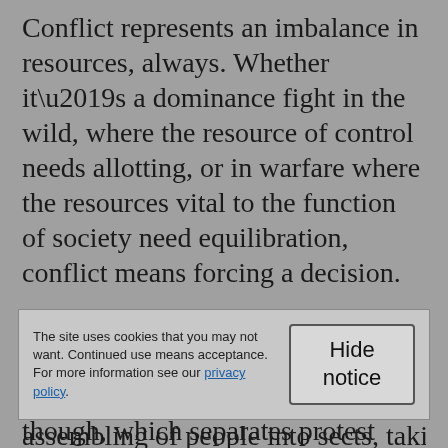Conflict represents an imbalance in resources, always. Whether it’s a dominance fight in the wild, where the resource of control needs allotting, or in warfare where the resources vital to the function of society need equilibration, conflict means forcing a decision.
When protesters take to the street, they seek redress. They do so in a fundamentally civil fashion, though, which separates protest from
The site uses cookies that you may not want. Continued use means acceptance. For more information see our privacy policy.